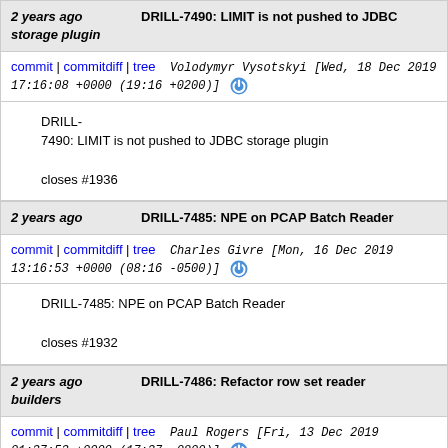2 years ago | DRILL-7490: LIMIT is not pushed to JDBC storage plugin
commit | commitdiff | tree   Volodymyr Vysotskyi [Wed, 18 Dec 2019 17:16:08 +0000 (19:16 +0200)]
DRILL-7490: LIMIT is not pushed to JDBC storage plugin

closes #1936
2 years ago | DRILL-7485: NPE on PCAP Batch Reader
commit | commitdiff | tree   Charles Givre [Mon, 16 Dec 2019 13:16:53 +0000 (08:16 -0500)]
DRILL-7485: NPE on PCAP Batch Reader

closes #1932
2 years ago | DRILL-7486: Refactor row set reader builders
commit | commitdiff | tree   Paul Rogers [Fri, 13 Dec 2019 01:37:53 +0000 (17:37 -0800)]
DRILL-7486: Refactor row set reader builders